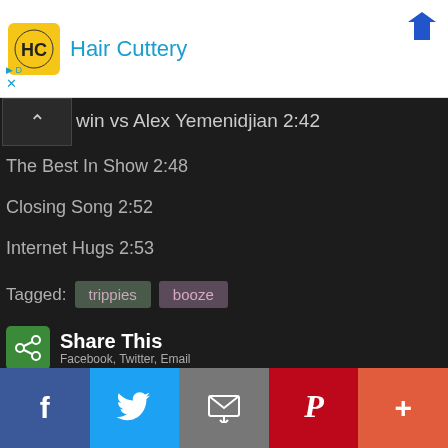[Figure (logo): Hair Cuttery advertisement banner with HC logo and blue arrow icon]
win vs Alex Yemenidjian 2:42
The Best In Show 2:48
Closing Song 2:52
Internet Hugs 2:53
Tagged: trippies booze
[Figure (logo): Share This button with Facebook, Twitter, Email text]
[Figure (infographic): Social media share footer bar with Facebook, Twitter, Email, Pinterest, and More buttons]